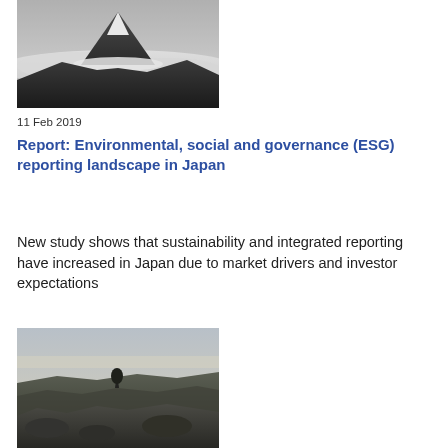[Figure (photo): Black and white photograph of Mount Fuji emerging above clouds]
11 Feb 2019
Report: Environmental, social and governance (ESG) reporting landscape in Japan
New study shows that sustainability and integrated reporting have increased in Japan due to market drivers and investor expectations
[Figure (photo): Black and white landscape photograph showing rocky hillside terrain with wide open sky]